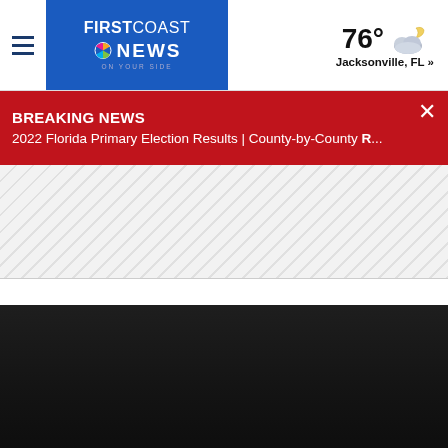First Coast News | 76° Jacksonville, FL »
BREAKING NEWS
2022 Florida Primary Election Results | County-by-County R...
[Figure (screenshot): Diagonal grey striped placeholder area below breaking news bar]
[Figure (photo): Dark/black content area at bottom of page]